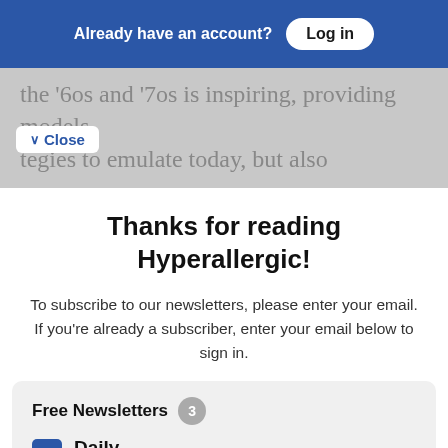Already have an account? Log in
the '6os and '7os is inspiring, providing models tegies to emulate today, but also
Close
Thanks for reading Hyperallergic!
To subscribe to our newsletters, please enter your email. If you're already a subscriber, enter your email below to sign in.
Free Newsletters 3
Daily — The latest stories every weekday morning